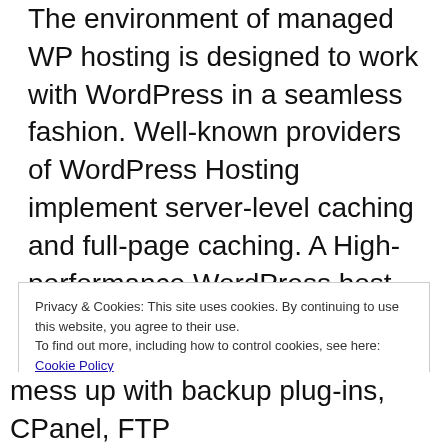The environment of managed WP hosting is designed to work with WordPress in a seamless fashion. Well-known providers of WordPress Hosting implement server-level caching and full-page caching. A High-performance WordPress host offers the latest architecture and it utilizes the technologies of PHP 7, Maria DB, HTTP/2 and NGINX. Web4Africa offers WordPress Hosting on enterprise-grade hardware for the very best performance possible.
Privacy & Cookies: This site uses cookies. By continuing to use this website, you agree to their use.
To find out more, including how to control cookies, see here: Cookie Policy
Close and accept
Chat
mess up with backup plug-ins, CPanel, FTP